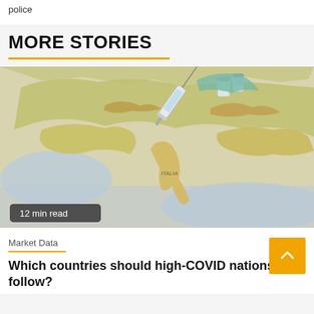police
MORE STORIES
[Figure (photo): A map of Europe with a vaccine syringe and vials placed on top of it, showing Italy and surrounding countries. The image has a '12 min read' badge in the bottom left corner.]
12 min read
Market Data
Which countries should high-COVID nations follow?